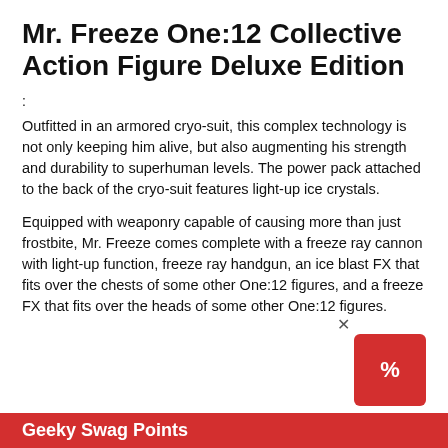Mr. Freeze One:12 Collective Action Figure Deluxe Edition
:
Outfitted in an armored cryo-suit, this complex technology is not only keeping him alive, but also augmenting his strength and durability to superhuman levels. The power pack attached to the back of the cryo-suit features light-up ice crystals.
Equipped with weaponry capable of causing more than just frostbite, Mr. Freeze comes complete with a freeze ray cannon with light-up function, freeze ray handgun, an ice blast FX that fits over the chests of some other One:12 figures, and a freeze FX that fits over the heads of some other One:12 figures.
Geeky Swag Points